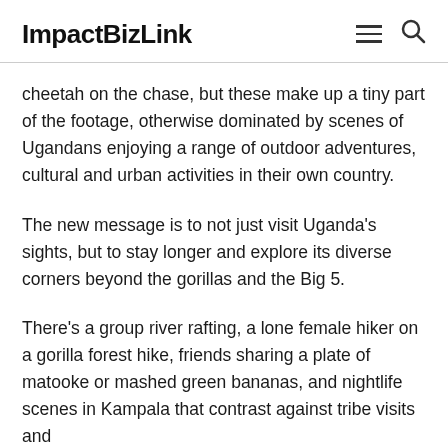ImpactBizLink
cheetah on the chase, but these make up a tiny part of the footage, otherwise dominated by scenes of Ugandans enjoying a range of outdoor adventures, cultural and urban activities in their own country.
The new message is to not just visit Uganda's sights, but to stay longer and explore its diverse corners beyond the gorillas and the Big 5.
There's a group river rafting, a lone female hiker on a gorilla forest hike, friends sharing a plate of matooke or mashed green bananas, and nightlife scenes in Kampala that contrast against tribe visits and